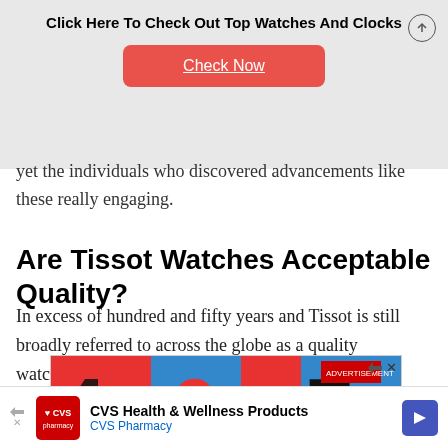Click Here To Check Out Top Watches And Clocks
[Figure (other): Red 'Check Now' button advertisement banner on grey background]
yet the individuals who discovered advancements like these really engaging.
Are Tissot Watches Acceptable Quality?
In excess of hundred and fifty years and Tissot is still broadly referred to across the globe as a quality watchmaker.
[Figure (other): Colorful graphic advertisement with large numbers/typography in red, blue, and black]
[Figure (other): CVS Health & Wellness Products - CVS Pharmacy advertisement banner]